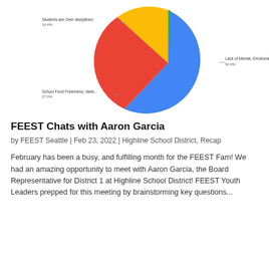[Figure (pie-chart): ]
FEEST Chats with Aaron Garcia
by FEEST Seattle | Feb 23, 2022 | Highline School District, Recap
February has been a busy, and fulfilling month for the FEEST Fam! We had an amazing opportunity to meet with Aaron Garcia, the Board Representative for District 1 at Highline School District!  FEEST Youth Leaders prepped for this meeting by brainstorming key questions...